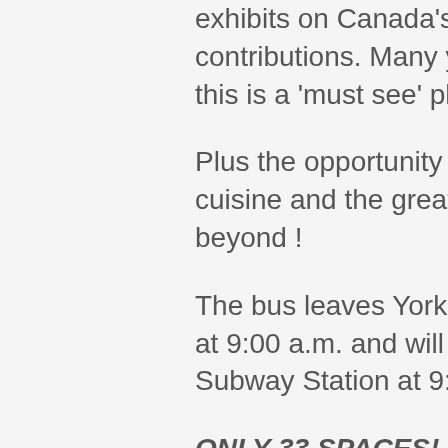exhibits on Canada's fashion contributions. Many years in the making, this is a 'must see' place to be!
Plus the opportunity to enjoy fine local cuisine and the great communities just beyond !
The bus leaves Yorkmills Subway Station at 9:00 a.m. and will stop at Islington Subway Station at 9:30 a.m.
ONLY 33 SPACES!   Book Early!   $65 per person To Sign Up, or for more information, Contact: